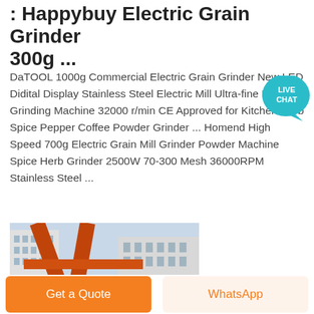: Happybuy Electric Grain Grinder 300g ...
DaTOOL 1000g Commercial Electric Grain Grinder New LED Didital Display Stainless Steel Electric Mill Ultra-fine Powder Grinding Machine 32000 r/min CE Approved for Kitchen Herb Spice Pepper Coffee Powder Grinder ... Homend High Speed 700g Electric Grain Mill Grinder Powder Machine Spice Herb Grinder 2500W 70-300 Mesh 36000RPM Stainless Steel ...
[Figure (photo): Industrial crane or heavy machinery with orange metal frame and beams, photographed from below against a building and sky background.]
Get a Quote
WhatsApp